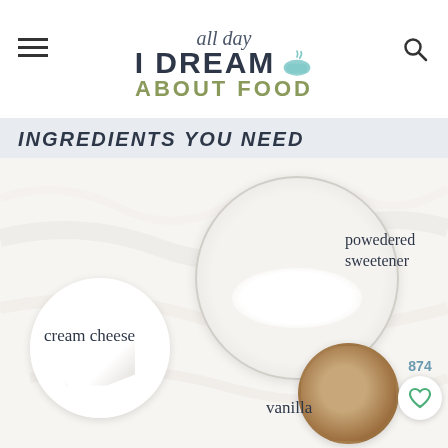all day I DREAM ABOUT FOOD
INGREDIENTS YOU NEED
[Figure (photo): Flat lay photo of ingredients on white marble background: a white plate with cream cheese block, a large glass bowl with powdered sweetener, a small bowl with vanilla extract. Labels on each ingredient: cream cheese, powedered sweetener, vanilla, cocoa powder (partially visible). A heart/like button showing 874 saves is visible in the bottom right.]